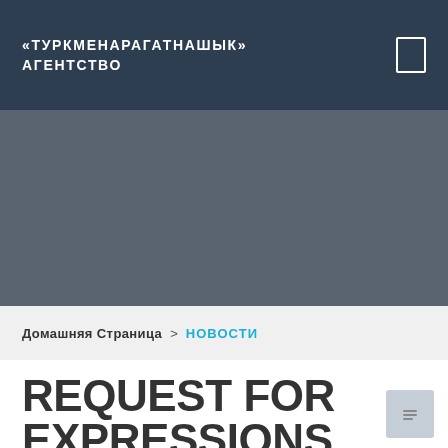«ТУРКМЕНАРАГАТНАШЫК» АГЕНТСТВО
[Figure (photo): Dark gray banner image area used as decorative header background]
Домашняя Страница  >  НОВОСТИ
REQUEST FOR EXPRESSIONS OF INTEREST